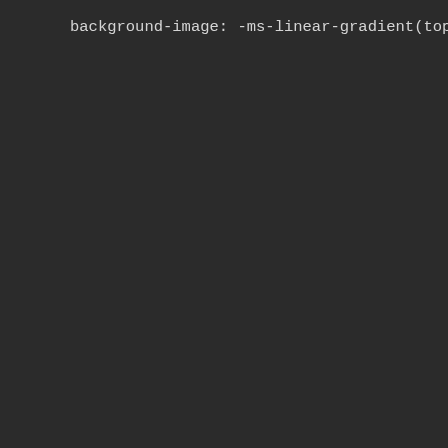CSS code snippet showing .sc--github:hover and .sc--github:active rules with background-color and background-image gradient properties
[Figure (screenshot): Dark-themed code editor screenshot showing CSS code with vendor-prefixed linear gradient background-image properties and background-color values (#2f6498, #4988c6, #3269a0) for .sc--github:hover and .sc--github:active selectors]